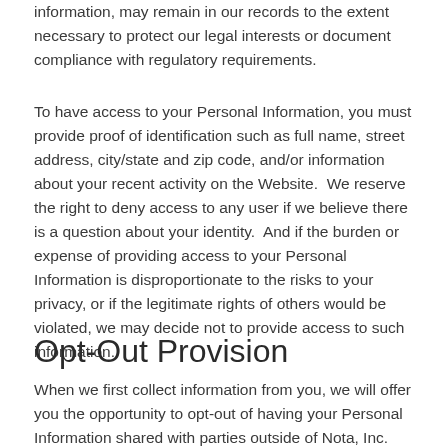information, may remain in our records to the extent necessary to protect our legal interests or document compliance with regulatory requirements.
To have access to your Personal Information, you must provide proof of identification such as full name, street address, city/state and zip code, and/or information about your recent activity on the Website.  We reserve the right to deny access to any user if we believe there is a question about your identity.  And if the burden or expense of providing access to your Personal Information is disproportionate to the risks to your privacy, or if the legitimate rights of others would be violated, we may decide not to provide access to such information.
Opt-Out Provision
When we first collect information from you, we will offer you the opportunity to opt-out of having your Personal Information shared with parties outside of Nota, Inc. (unless